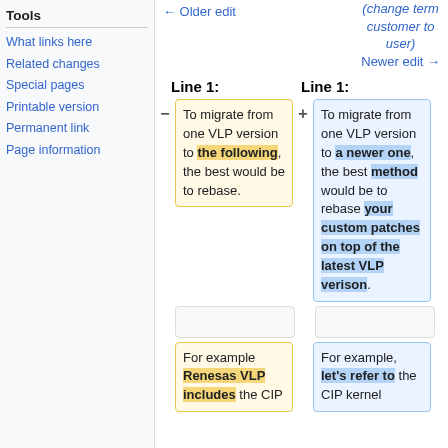Tools
What links here
Related changes
Special pages
Printable version
Permanent link
Page information
← Older edit
(change term customer to user)
Newer edit →
Line 1:
Line 1:
To migrate from one VLP version to the following, the best would be to rebase.
To migrate from one VLP version to a newer one, the best method would be to rebase your custom patches on top of the latest VLP verison.
For example Renesas VLP includes the CIP
For example, let's refer to the CIP kernel